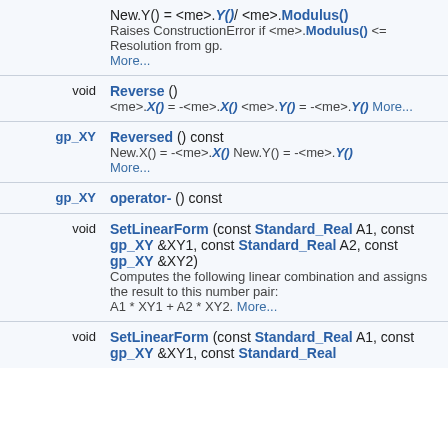| Type | Member Function |
| --- | --- |
|  | New.Y() = <me>.Y()/ <me>.Modulus() Raises ConstructionError if <me>.Modulus() <= Resolution from gp. More... |
| void | Reverse () <me>.X() = -<me>.X() <me>.Y() = -<me>.Y() More... |
| gp_XY | Reversed () const New.X() = -<me>.X() New.Y() = -<me>.Y() More... |
| gp_XY | operator- () const |
| void | SetLinearForm (const Standard_Real A1, const gp_XY &XY1, const Standard_Real A2, const gp_XY &XY2) Computes the following linear combination and assigns the result to this number pair: A1 * XY1 + A2 * XY2. More... |
| void | SetLinearForm (const Standard_Real A1, const gp_XY &XY1, const Standard_Real |